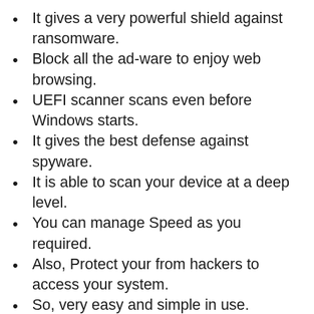It gives a very powerful shield against ransomware.
Block all the ad-ware to enjoy web browsing.
UEFI scanner scans even before Windows starts.
It gives the best defense against spyware.
It is able to scan your device at a deep level.
You can manage Speed as you required.
Also, Protect your from hackers to access your system.
So, very easy and simple in use.
It protects your computer as well as all of your devices.
So, Fast in speed and gives you quick